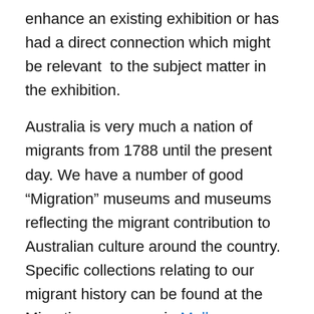enhance an existing exhibition or has had a direct connection which might be relevant  to the subject matter in the exhibition.
Australia is very much a nation of migrants from 1788 until the present day. We have a number of good “Migration” museums and museums reflecting the migrant contribution to Australian culture around the country. Specific collections relating to our migrant history can be found at the Migration museums in Melbourne, Adelaide, and sections of the Australian National Maritime Museum (Sydney), National Museum of Australia (Canberra), National Archives of Australia (Canberra). There are also “specialist” museums such as Sydney Jewish Museum, Jewish Museum of Australia (Melbourne), Jewish Holocaust Centre (Melbourne) and “multicultural” museums e.g.  Multicultural Museums Victoria (MMV) an